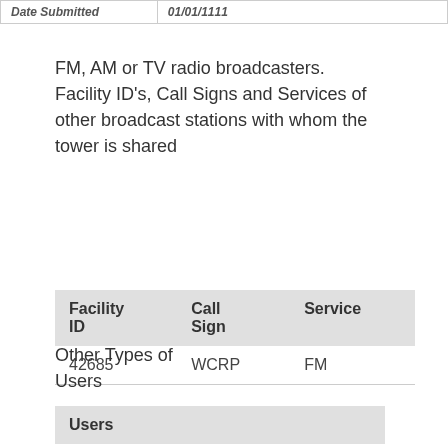|  | Date Submitted | 01/01/1111 |
| --- | --- | --- |
FM, AM or TV radio broadcasters. Facility ID's, Call Signs and Services of other broadcast stations with whom the tower is shared
| Facility ID | Call Sign | Service |
| --- | --- | --- |
| 42685 | WCRP | FM |
Other Types of Users
| Users |
| --- |
| Wireless t... |